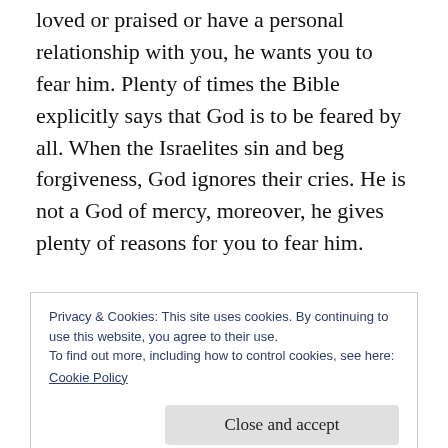loved or praised or have a personal relationship with you, he wants you to fear him. Plenty of times the Bible explicitly says that God is to be feared by all. When the Israelites sin and beg forgiveness, God ignores their cries. He is not a God of mercy, moreover, he gives plenty of reasons for you to fear him.
I'll be honest; the Book of Deuteronomy starts pretty slowly. The first twelve chapters are
Privacy & Cookies: This site uses cookies. By continuing to use this website, you agree to their use.
To find out more, including how to control cookies, see here:
Cookie Policy
as the Israelites were there so they should